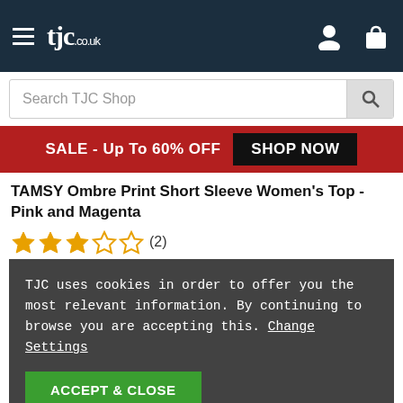tjc.co.uk — Navigation bar with hamburger menu, logo, user icon, bag icon
Search TJC Shop
SALE - Up To 60% OFF  SHOP NOW
TAMSY Ombre Print Short Sleeve Women's Top - Pink and Magenta
★★★☆☆ (2)
TJC uses cookies in order to offer you the most relevant information. By continuing to browse you are accepting this. Change Settings
ACCEPT & CLOSE
[Figure (photo): Partial view of a woman modelling a green top, cropped at waist level, against a light beige background]